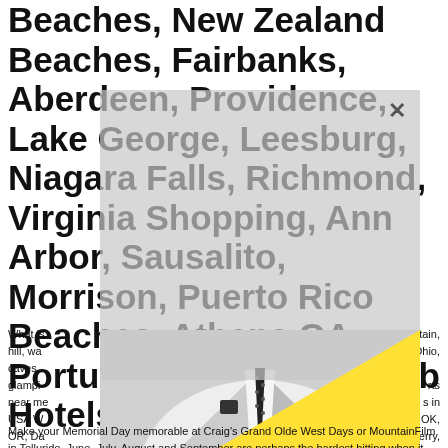Beaches, New Zealand Beaches, Fairbanks, Aberdeen, Providence, Lake George, Leesburg, Niagara Falls, Richmond, Virginia Shopping, Ann Arbor, Sausalito, Morrison, Puerto Rico Beaches, Athens GA, Portugal Beaches, Zagreb Hotels
[Figure (photo): Black and white photo of a man in a white suit with a black polka-dot tie and matching pocket square, overlaid with a yellow triangle graphic and a semi-transparent grey overlay box with an X close button]
What is... mountain, hill, wa... Ohio, caves,... glampi... rts near me... s in USA W... OK, OR, Da... Ferry, Durham...
Make your Memorial Day memorable at Craig's Grand Olde West Days or MountainFilm in Telluride. June, July, August and September are perhaps the hardest hitting when it comes to sheer number of events. Every single weekend you'll have a handful of fun festivals to choose